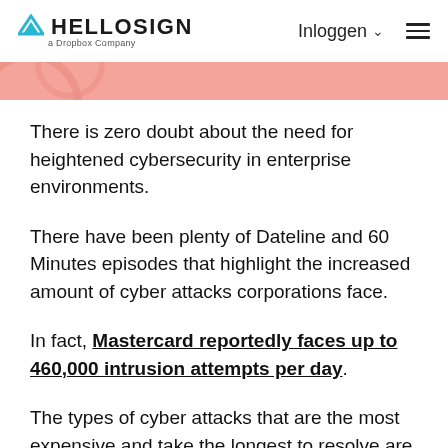HELLOSIGN a Dropbox Company | Inloggen
There is zero doubt about the need for heightened cybersecurity in enterprise environments.
There have been plenty of Dateline and 60 Minutes episodes that highlight the increased amount of cyber attacks corporations face.
In fact, Mastercard reportedly faces up to 460,000 intrusion attempts per day.
The types of cyber attacks that are the most expensive and take the longest to resolve are categorized as “malicious insiders” according to the Cost of Cybercrime Study in Financial